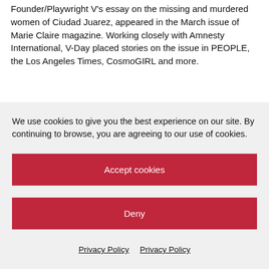Founder/Playwright V's essay on the missing and murdered women of Ciudad Juarez, appeared in the March issue of Marie Claire magazine. Working closely with Amnesty International, V-Day placed stories on the issue in PEOPLE, the Los Angeles Times, CosmoGIRL and more.
We use cookies to give you the best experience on our site. By continuing to browse, you are agreeing to our use of cookies.
Accept cookies
Deny
Privacy Policy  Privacy Policy